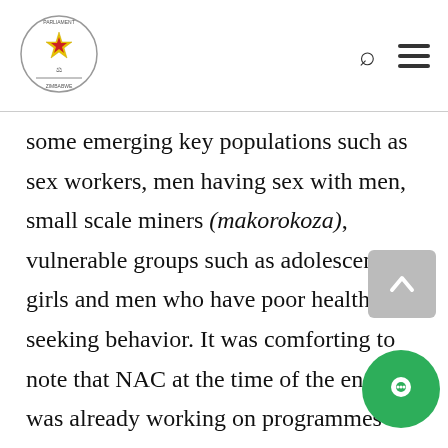Parliament of Zimbabwe - logo, search icon, menu icon
some emerging key populations such as sex workers, men having sex with men, small scale miners (makorokoza), vulnerable groups such as adolescent girls and men who have poor health seeking behavior. It was comforting to note that NAC at the time of the enquiry, was already working on programmes that were aimed at